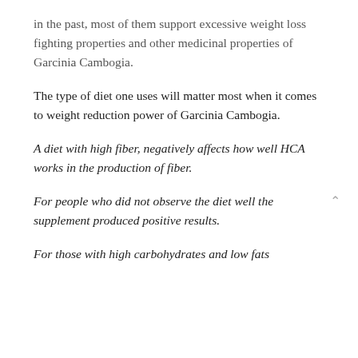in the past, most of them support excessive weight loss fighting properties and other medicinal properties of Garcinia Cambogia.
The type of diet one uses will matter most when it comes to weight reduction power of Garcinia Cambogia.
A diet with high fiber, negatively affects how well HCA works in the production of fiber.
For people who did not observe the diet well the supplement produced positive results.
For those with high carbohydrates and low fats